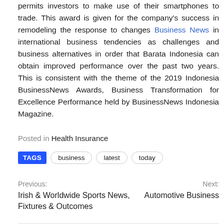permits investors to make use of their smartphones to trade. This award is given for the company's success in remodeling the response to changes Business News in international business tendencies as challenges and business alternatives in order that Barata Indonesia can obtain improved performance over the past two years. This is consistent with the theme of the 2019 Indonesia BusinessNews Awards, Business Transformation for Excellence Performance held by BusinessNews Indonesia Magazine.
Posted in Health Insurance
TAGS  business  latest  today
Previous: Irish & Worldwide Sports News, Fixtures & Outcomes
Next: Automotive Business